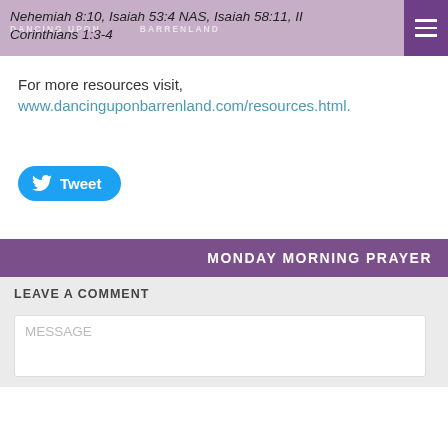Nehemiah 8:10, Isaiah 53:4 NAS, Isaiah 58:11, II Corinthians 1:3-4
For more resources visit,
www.dancinguponbarrenland.com/resources.html.
[Figure (other): Blue Tweet button with Twitter bird icon]
MONDAY MORNING PRAYER
LEAVE A COMMENT
MESSAGE